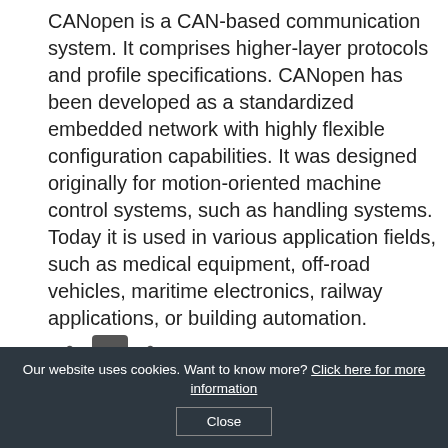CANopen is a CAN-based communication system. It comprises higher-layer protocols and profile specifications. CANopen has been developed as a standardized embedded network with highly flexible configuration capabilities. It was designed originally for motion-oriented machine control systems, such as handling systems. Today it is used in various application fields, such as medical equipment, off-road vehicles, maritime electronics, railway applications, or building automation.
[Figure (illustration): Collection of interlocking gear icons in dark grey and red colors, arranged in a row at the bottom of the page]
Our website uses cookies. Want to know more? Click here for more information
Close